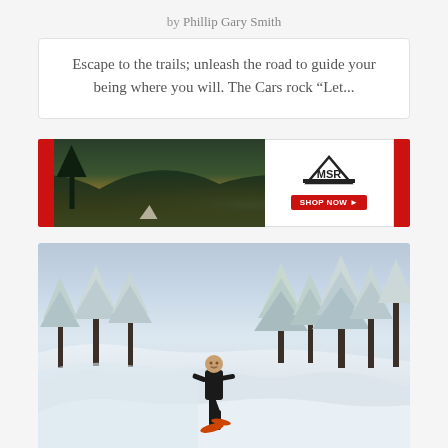by Phillip Gary Smith
Escape to the trails; unleash the road to guide your being where you will. The Cars rock “Let...
[Figure (photo): MSR outdoor gear advertisement banner showing a panoramic forest landscape at sunset with red accent bars on left and right sides and MSR logo with SHOP NOW button on white panel]
[Figure (photo): Person in black clothing snowshoeing through a deep snow-covered forest with snow-laden evergreen trees in the background]